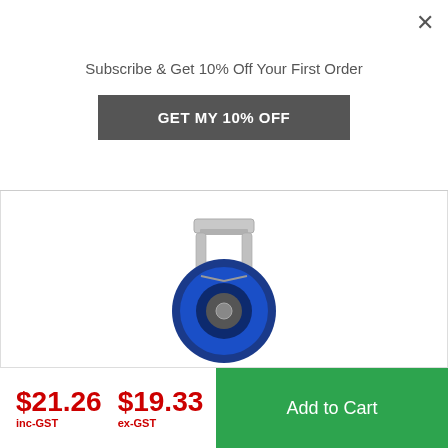Subscribe & Get 10% Off Your First Order
GET MY 10% OFF
[Figure (photo): Blue rubber castor wheel with fixed steel bracket mounting plate, viewed from a slight angle. The wheel is blue rubber with a dark hub, on a chrome/silver yoke with a top plate.]
300KG RATED BLUE RUBBER CASTOR - 160MM - FIXED
SKU: TE31EZB160R
Now $44.08 inc·GST Was $65.93 inc·GST
$21.26 inc-GST $19.33 ex-GST
Add to Cart